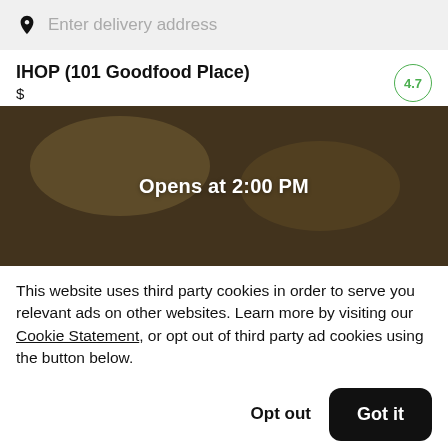Enter delivery address
IHOP (101 Goodfood Place)
$
4.7
[Figure (photo): Food image showing pancakes or baked goods with a dark overlay and text 'Opens at 2:00 PM']
This website uses third party cookies in order to serve you relevant ads on other websites. Learn more by visiting our Cookie Statement, or opt out of third party ad cookies using the button below.
Opt out
Got it